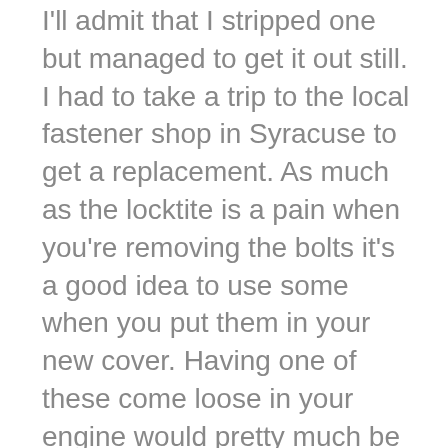I'll admit that I stripped one but managed to get it out still. I had to take a trip to the local fastener shop in Syracuse to get a replacement. As much as the locktite is a pain when you're removing the bolts it's a good idea to use some when you put them in your new cover. Having one of these come loose in your engine would pretty much be the end of it.
I probably don't have to say this but when you do transfer the clutch leaver over keep an eye on the set-up in the old cover and make sure you get everything in place right. It's not hard but I'm sure it can be screwed up if you're not careful. Be sure to keep track of the pin seated in the case that actuates the clutch. Mine kept dropping out of place when I was putting the cover back on.